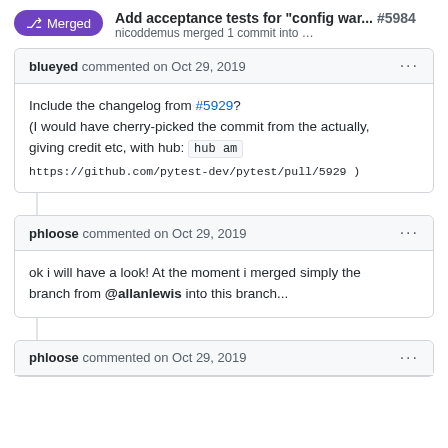Add acceptance tests for "config war..." #5984 — nicoddemus merged 1 commit into ...
blueyed commented on Oct 29, 2019
Include the changelog from #5929?
(I would have cherry-picked the commit from the actually, giving credit etc, with hub: hub am
https://github.com/pytest-dev/pytest/pull/5929 )
phloose commented on Oct 29, 2019
ok i will have a look! At the moment i merged simply the branch from @allanlewis into this branch...
phloose commented on Oct 29, 2019